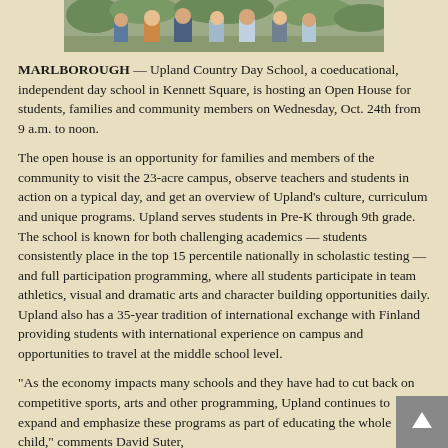[Figure (photo): A group photo of students and possibly staff/family members outdoors, partially visible at the top of the page.]
MARLBOROUGH — Upland Country Day School, a coeducational, independent day school in Kennett Square, is hosting an Open House for students, families and community members on Wednesday, Oct. 24th from 9 a.m. to noon.
The open house is an opportunity for families and members of the community to visit the 23-acre campus, observe teachers and students in action on a typical day, and get an overview of Upland's culture, curriculum and unique programs. Upland serves students in Pre-K through 9th grade. The school is known for both challenging academics — students consistently place in the top 15 percentile nationally in scholastic testing — and full participation programming, where all students participate in team athletics, visual and dramatic arts and character building opportunities daily. Upland also has a 35-year tradition of international exchange with Finland providing students with international experience on campus and opportunities to travel at the middle school level.
“As the economy impacts many schools and they have had to cut back on competitive sports, arts and other programming, Upland continues to expand and emphasize these programs as part of educating the whole child,” comments David Suter,